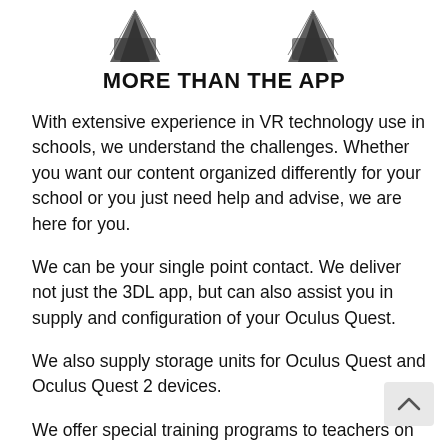[Figure (photo): Two VR headset device images partially visible at the top of the page, one on the left and one on the right]
MORE THAN THE APP
With extensive experience in VR technology use in schools, we understand the challenges. Whether you want our content organized differently for your school or you just need help and advise, we are here for you.
We can be your single point contact. We deliver not just the 3DL app, but can also assist you in supply and configuration of your Oculus Quest.
We also supply storage units for Oculus Quest and Oculus Quest 2 devices.
We offer special training programs to teachers on how the Oculus Quest can be used.
As a 3DL customer, we can also advise you on other apps that...